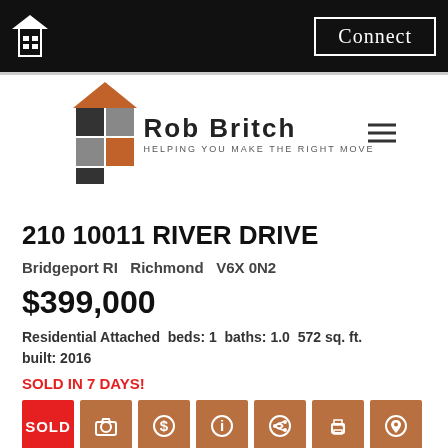Connect
[Figure (logo): Rob Britch real estate logo with house graphic and tagline HELPING YOU MAKE THE RIGHT MOVE]
210 10011 RIVER DRIVE
Bridgeport RI  Richmond  V6X 0N2
$399,000
Residential Attached  beds: 1  baths: 1.0  572 sq. ft.  built: 2016
SOLD IN 7 DAYS!
SOLD
Details
Photos
Map